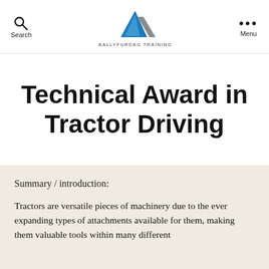Search | Ballyfurdag Training | Menu
Technical Award in Tractor Driving
Summary / introduction:
Tractors are versatile pieces of machinery due to the ever expanding types of attachments available for them, making them valuable tools within many different